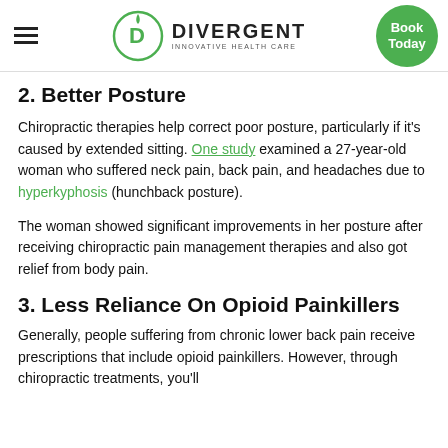DIVERGENT INNOVATIVE HEALTH CARE | Book Today
2. Better Posture
Chiropractic therapies help correct poor posture, particularly if it’s caused by extended sitting. One study examined a 27-year-old woman who suffered neck pain, back pain, and headaches due to hyperkyphosis (hunchback posture).
The woman showed significant improvements in her posture after receiving chiropractic pain management therapies and also got relief from body pain.
3. Less Reliance On Opioid Painkillers
Generally, people suffering from chronic lower back pain receive prescriptions that include opioid painkillers. However, through chiropractic treatments, you’ll